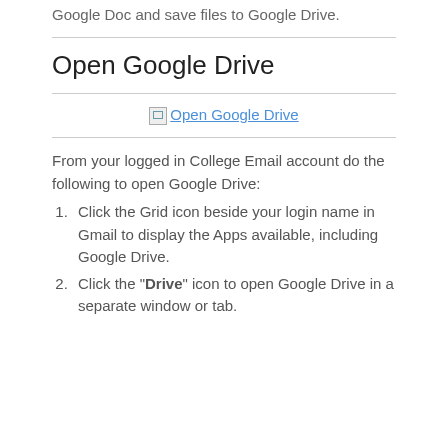Google Doc and save files to Google Drive.
Open Google Drive
[Figure (other): Broken image link labeled 'Open Google Drive']
From your logged in College Email account do the following to open Google Drive:
Click the Grid icon beside your login name in Gmail to display the Apps available, including Google Drive.
Click the "Drive" icon to open Google Drive in a separate window or tab.